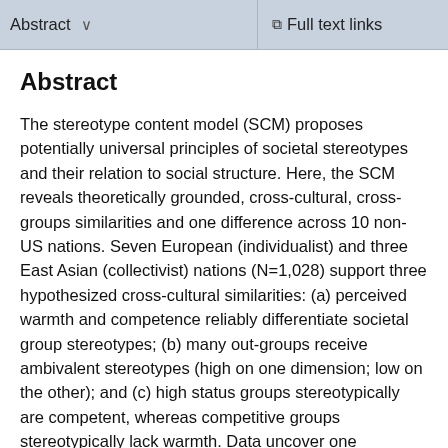Abstract | Full text links
Abstract
The stereotype content model (SCM) proposes potentially universal principles of societal stereotypes and their relation to social structure. Here, the SCM reveals theoretically grounded, cross-cultural, cross-groups similarities and one difference across 10 non-US nations. Seven European (individualist) and three East Asian (collectivist) nations (N=1,028) support three hypothesized cross-cultural similarities: (a) perceived warmth and competence reliably differentiate societal group stereotypes; (b) many out-groups receive ambivalent stereotypes (high on one dimension; low on the other); and (c) high status groups stereotypically are competent, whereas competitive groups stereotypically lack warmth. Data uncover one consequential cross-cultural difference: (d) the more collectivist cultures do